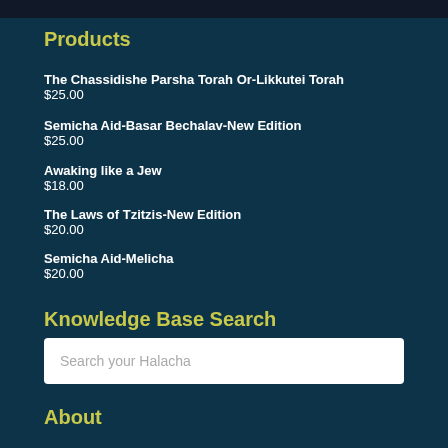Products
The Chassidishe Parsha Torah Or-Likkutei Torah
$25.00
Semicha Aid-Basar Bechalav-New Edition
$25.00
Awaking like a Jew
$18.00
The Laws of Tzitzis-New Edition
$20.00
Semicha Aid-Melicha
$20.00
Knowledge Base Search
Search your Halacha
About